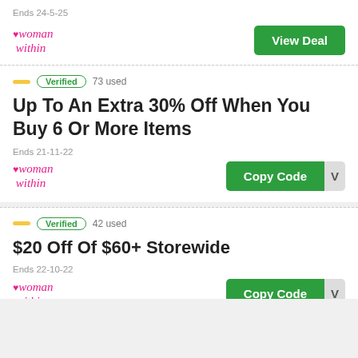Ends 24-5-25
[Figure (logo): Woman Within brand logo in pink cursive text]
View Deal
Verified  73 used
Up To An Extra 30% Off When You Buy 6 Or More Items
Ends 21-11-22
[Figure (logo): Woman Within brand logo in pink cursive text]
Copy Code
Verified  42 used
$20 Off Of $60+ Storewide
Ends 22-10-22
[Figure (logo): Woman Within brand logo in pink cursive text]
Copy Code